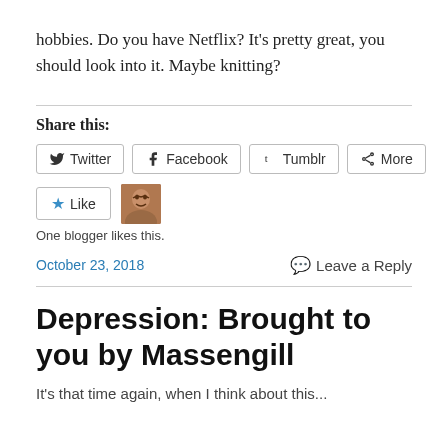hobbies. Do you have Netflix? It's pretty great, you should look into it. Maybe knitting?
Share this:
[Figure (screenshot): Social share buttons: Twitter, Facebook, Tumblr, More]
[Figure (screenshot): Like button with star icon and user avatar thumbnail. Text: One blogger likes this.]
One blogger likes this.
October 23, 2018
Leave a Reply
Depression: Brought to you by Massengill
It's that time again, when I think about...